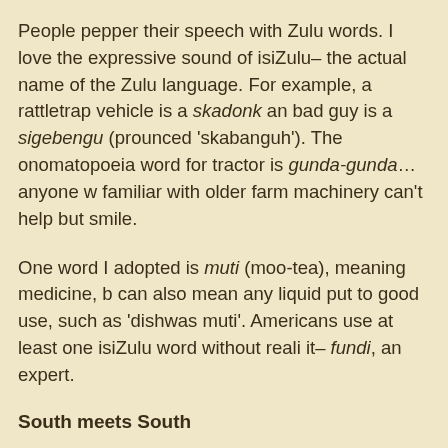People pepper their speech with Zulu words. I love the expressive sound of isiZulu– the actual name of the Zulu language. For example, a rattletrap vehicle is a skadonk and a bad guy is a sigebengu (prounced 'skabanguh'). The onomatopoeia word for tractor is gunda-gunda… anyone who is familiar with older farm machinery can't help but smile.
One word I adopted is muti (moo-tea), meaning medicine, but it can also mean any liquid put to good use, such as 'dishwashing muti'. Americans use at least one isiZulu word without realizing it– fundi, an expert.
South meets South
Three weeks ago, our friend Geri came to visit. She's the e... and very easy to underestimate as some have learned to th... perhaps twice a year and accepted Cate's invitation to visit...
Fortunately Geri travels well and is patient, since the textbo...